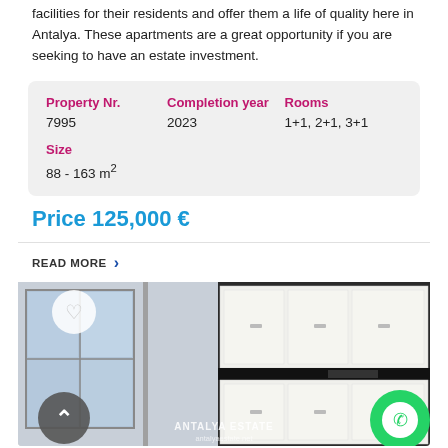facilities for their residents and offer them a life of quality here in Antalya. These apartments are a great opportunity if you are seeking to have an estate investment.
| Property Nr. | Completion year | Rooms |
| --- | --- | --- |
| 7995 | 2023 | 1+1, 2+1, 3+1 |
| Size |  |  |
| 88 - 163 m² |  |  |
Price 125,000 €
READ MORE ›
[Figure (photo): Interior photo of an apartment kitchen with white cabinets and black countertop, Antalya Estate watermark visible]